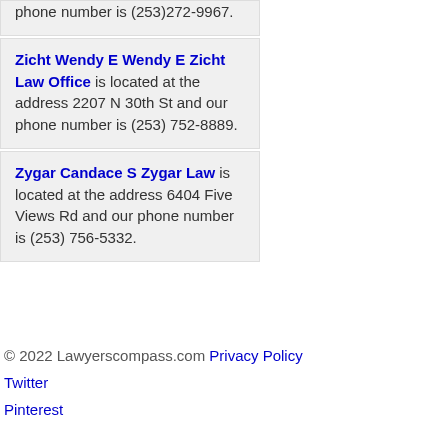phone number is (253)272-9967.
Zicht Wendy E Wendy E Zicht Law Office is located at the address 2207 N 30th St and our phone number is (253) 752-8889.
Zygar Candace S Zygar Law is located at the address 6404 Five Views Rd and our phone number is (253) 756-5332.
© 2022 Lawyerscompass.com Privacy Policy Twitter Pinterest